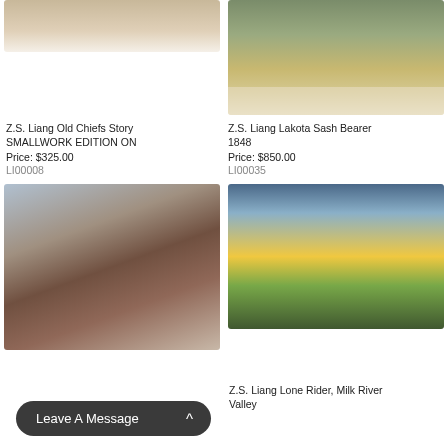[Figure (illustration): Partial view of Z.S. Liang Old Chiefs Story painting, cropped at top]
[Figure (illustration): Z.S. Liang Lakota Sash Bearer 1848 painting showing a Native American figure in traditional dress kneeling in a field]
Z.S. Liang Old Chiefs Story SMALLWORK EDITION ON
Price: $325.00
LI00008
Z.S. Liang Lakota Sash Bearer 1848
Price: $850.00
LI00035
[Figure (illustration): Z.S. Liang painting of a Native American chief wearing a full feathered headdress, close portrait]
[Figure (illustration): Z.S. Liang Lone Rider Milk River Valley painting showing a Native American rider on a white horse in a plains landscape at sunset]
Z.S. Liang Lone Rider, Milk River Valley